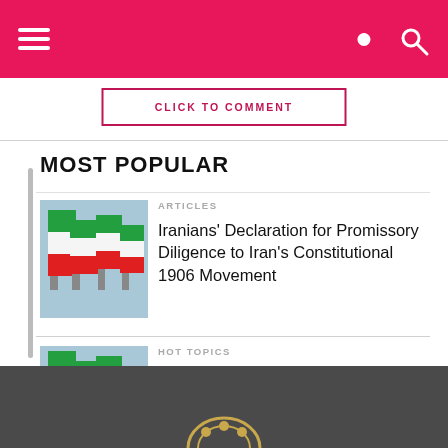CLICK TO COMMENT
MOST POPULAR
ARTICLES
Iranians' Declaration for Promissory Diligence to Iran's Constitutional 1906 Movement
HOT TOPICS
Join the #WhiteRevolution: Iranians Call for Unity
[Figure (photo): Iranian flags waving on poles against a blue sky]
[Figure (photo): Iranian flags waving on poles against a blue sky]